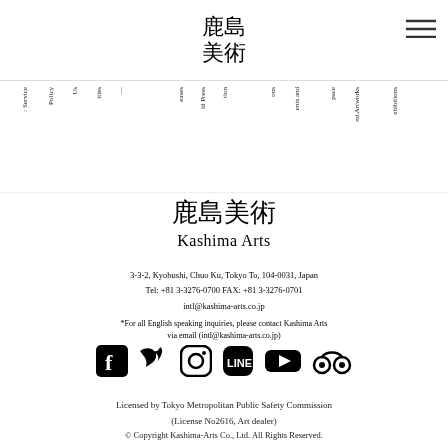[Figure (logo): Kashima Arts kanji logo at top center of header]
[Figure (illustration): Hamburger menu icon (three horizontal lines) at top right]
Navigation bar with rotated text items: Service, Policy, Us, ities (Facilities), (About), eases (Press Releases), ld Press (World Press), tion (Information), ons (Collections), ents and (Events and), pace (Space), nd Artworks (Find Artworks), xhibitions (Exhibitions)
[Figure (logo): Kashima Arts kanji logo (large) in center of page]
Kashima Arts
3-3-2, Kyobushi, Chuo Ku, Tokyo To, 104-0031, Japan
Tel: +81 3-3276-0700 FAX: +81 3-3276-0701
intl@kashima-arts.co.jp
*For all English speaking inquiries, please contact Kashima Arts via email (intl@kashima-arts.co.jp)
[Figure (infographic): Social media icons row: Facebook, Twitter, Instagram, LINE, YouTube, TripAdvisor]
Licensed by Tokyo Metropolitan Public Safety Commission (License No2616, Art dealer)
© Copyright Kashima-Arts Co., Ltd. All Rights Reserved.